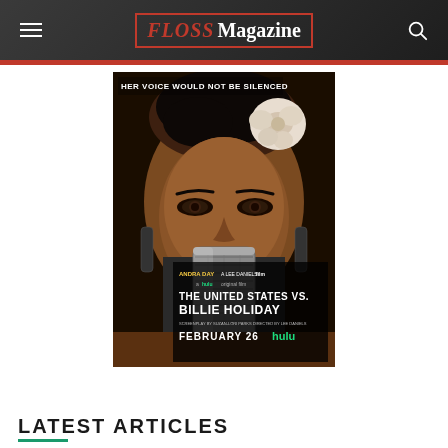FLOSS Magazine
[Figure (photo): Movie poster for 'The United States vs. Billie Holiday'. Close-up of actress Andra Day as Billie Holiday, with a white flower in her hair and a vintage microphone in front of her face. Text reads: 'HER VOICE WOULD NOT BE SILENCED', 'ANDRA DAY', 'A LEE DANIELS FILM', 'A HULU ORIGINAL FILM', 'THE UNITED STATES VS. BILLIE HOLIDAY', 'SCREENPLAY BY SUZAN-LORI PARKS', 'DIRECTED BY LEE DANIELS', 'FEBRUARY 26', 'hulu']
LATEST ARTICLES